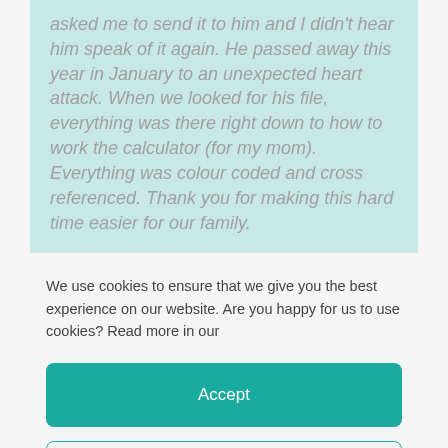asked me to send it to him and I didn't hear him speak of it again. He passed away this year in January to an unexpected heart attack. When we looked for his file, everything was there right down to how to work the calculator (for my mom). Everything was colour coded and cross referenced. Thank you for making this hard time easier for our family.
We use cookies to ensure that we give you the best experience on our website. Are you happy for us to use cookies? Read more in our
Accept
Deny